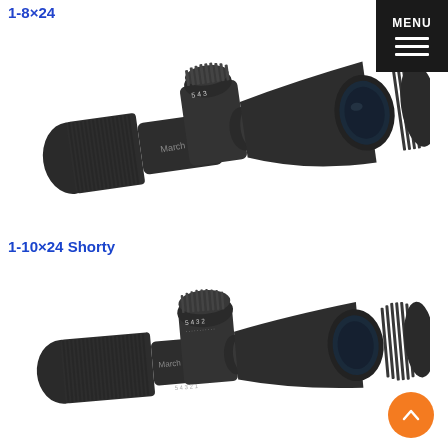1-8×24
[Figure (photo): Photograph of a Marsh F 1-8x24 rifle scope in matte black finish, shown at an angle with adjustment turrets and objective lens visible.]
1-10×24 Shorty
[Figure (photo): Photograph of a Marsh F 1-10x24 Shorty rifle scope in matte black finish, shown at an angle with adjustment turrets and objective lens visible.]